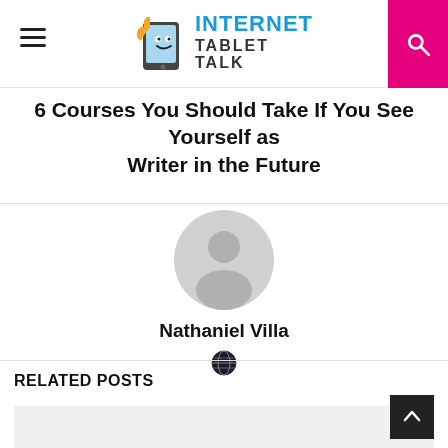Internet Tablet Talk
6 Courses You Should Take If You See Yourself as Writer in the Future
[Figure (illustration): Default grey avatar/profile icon — circular silhouette of a person]
Nathaniel Villa
[Figure (illustration): Globe/website icon]
RELATED POSTS
[Figure (photo): Related post thumbnail image (grey placeholder)]